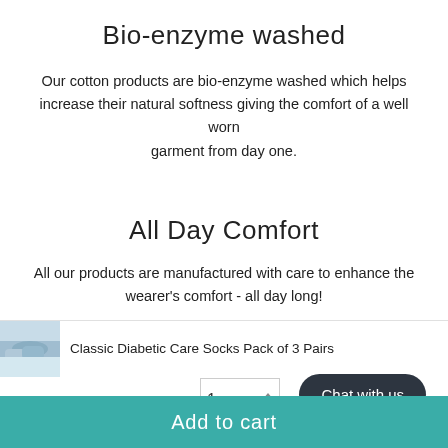Bio-enzyme washed
Our cotton products are bio-enzyme washed which helps increase their natural softness giving the comfort of a well worn garment from day one.
All Day Comfort
All our products are manufactured with care to enhance the wearer's comfort - all day long!
Classic Diabetic Care Socks Pack of 3 Pairs
1
Chat with us
Add to cart